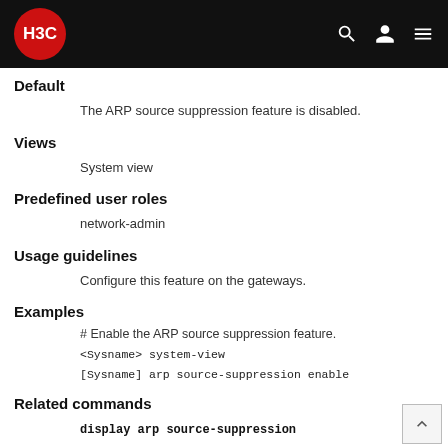H3C [logo header]
Default
The ARP source suppression feature is disabled.
Views
System view
Predefined user roles
network-admin
Usage guidelines
Configure this feature on the gateways.
Examples
# Enable the ARP source suppression feature.
<Sysname> system-view
[Sysname] arp source-suppression enable
Related commands
display arp source-suppression